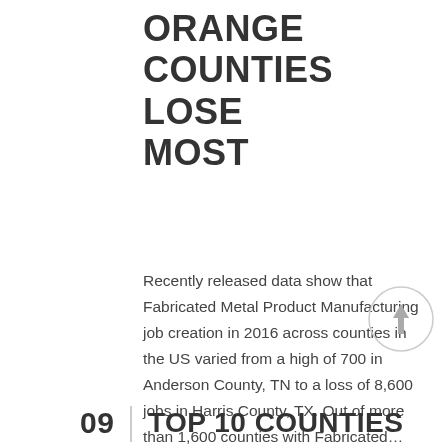ORANGE COUNTIES LOSE MOST
Recently released data show that Fabricated Metal Product Manufacturing job creation in 2016 across counties in the US varied from a high of 700 in Anderson County, TN to a loss of 8,600 jobs in Harris County, TX. Out of more than 1,600 counties with Fabricated...
TOP 10 COUNTIES